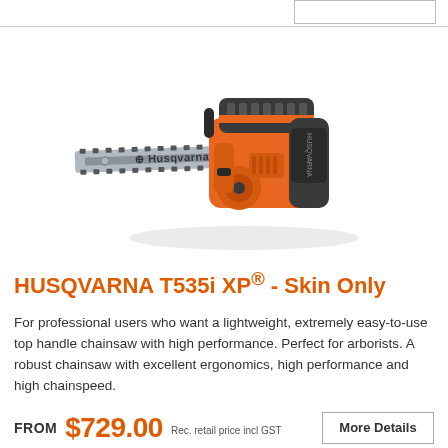[Figure (photo): Husqvarna T535i XP chainsaw with orange body, gray battery top, and silver guide bar with chain. The Husqvarna logo is printed on the guide bar.]
HUSQVARNA T535i XP® - Skin Only
For professional users who want a lightweight, extremely easy-to-use top handle chainsaw with high performance. Perfect for arborists. A robust chainsaw with excellent ergonomics, high performance and high chainspeed.
FROM $729.00 Rec. retail price incl GST
More Details